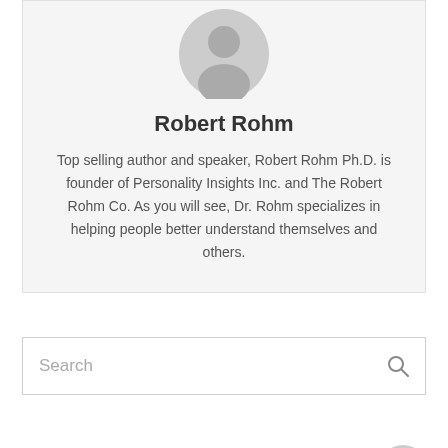[Figure (photo): Gray placeholder avatar icon of a person silhouette]
Robert Rohm
Top selling author and speaker, Robert Rohm Ph.D. is founder of Personality Insights Inc. and The Robert Rohm Co. As you will see, Dr. Rohm specializes in helping people better understand themselves and others.
Search
[Figure (other): Scroll-to-top button: circular gray button with upward chevron arrow]
Get in on our free stuff!